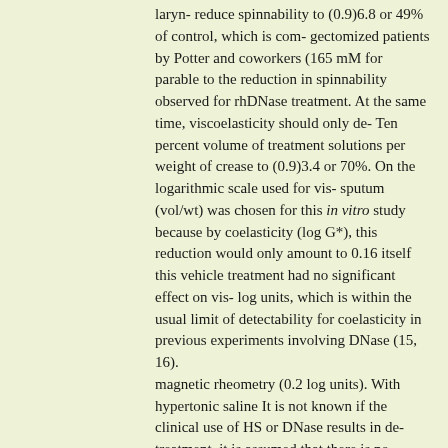laryn- reduce spinnability to (0.9)6.8 or 49% of control, which is com- gectomized patients by Potter and coworkers (165 mM for parable to the reduction in spinnability observed for rhDNase treatment. At the same time, viscoelasticity should only de- Ten percent volume of treatment solutions per weight of crease to (0.9)3.4 or 70%. On the logarithmic scale used for vis- sputum (vol/wt) was chosen for this in vitro study because by coelasticity (log G*), this reduction would only amount to 0.16 itself this vehicle treatment had no significant effect on vis- log units, which is within the usual limit of detectability for coelasticity in previous experiments involving DNase (15, 16).
magnetic rheometry (0.2 log units). With hypertonic saline It is not known if the clinical use of HS or DNase results in de- treatment, it is assumed that there is no cleavage of intramo- livery of 1:10 of total volume of secretions in the airways; this lecular bonds and no reduction in molecular weight. However, ratio will most likely vary depending on the distribution of the treatment (shielding of ionic charge) should produce sub- aerosol deposition. Therefore it is difficult to make any pre- stantial reductions in intermolecular interaction and macro- dictions related to an optimal volume/dose of solutions deliv- molecular conformation, both of